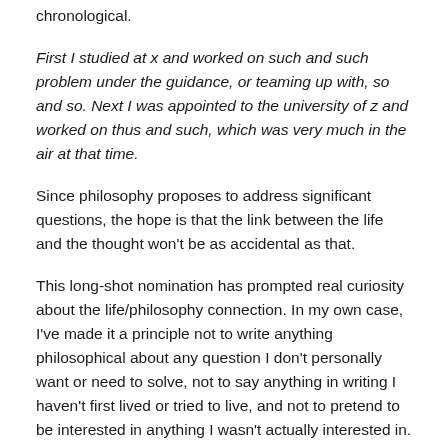chronological.
First I studied at x and worked on such and such problem under the guidance, or teaming up with, so and so. Next I was appointed to the university of z and worked on thus and such, which was very much in the air at that time.
Since philosophy proposes to address significant questions, the hope is that the link between the life and the thought won't be as accidental as that.
This long-shot nomination has prompted real curiosity about the life/philosophy connection. In my own case, I've made it a principle not to write anything philosophical about any question I don't personally want or need to solve, not to say anything in writing I haven't first lived or tried to live, and not to pretend to be interested in anything I wasn't actually interested in.